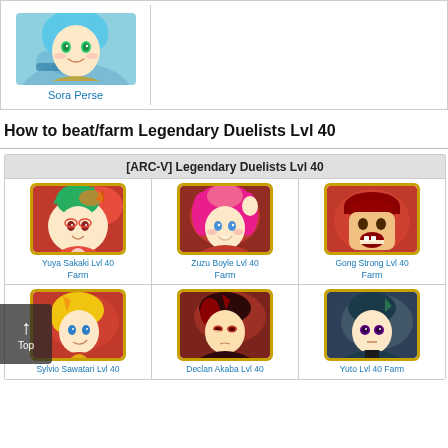[Figure (illustration): Sora Perse anime character portrait with blue hair, green eyes, smiling, with teal/blue background elements]
Sora Perse
How to beat/farm Legendary Duelists Lvl 40
| [ARC-V] Legendary Duelists Lvl 40 |
| --- |
| Yuya Sakaki Lvl 40 Farm | Zuzu Boyle Lvl 40 Farm | Gong Strong Lvl 40 Farm |
| Sylvio Sawatari Lvl 40 | Declan Akaba Lvl 40 | Yuto Lvl 40 Farm |